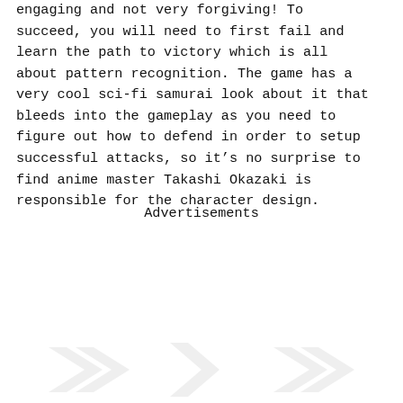engaging and not very forgiving! To succeed, you will need to first fail and learn the path to victory which is all about pattern recognition. The game has a very cool sci-fi samurai look about it that bleeds into the gameplay as you need to figure out how to defend in order to setup successful attacks, so it’s no surprise to find anime master Takashi Okazaki is responsible for the character design.
Advertisements
[Figure (illustration): Faint watermark-style decorative illustration at the bottom of the page, showing ghosted arrow or chevron shapes.]